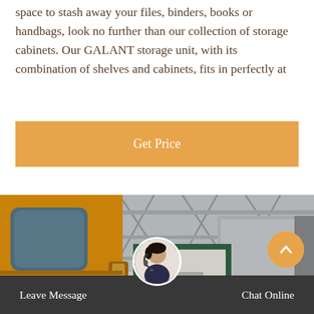space to stash away your files, binders, books or handbags, look no further than our collection of storage cabinets. Our GALANT storage unit, with its combination of shelves and cabinets, fits in perfectly at
[Figure (other): Orange 'Get Price' button widget on website]
[Figure (photo): Outdoor industrial scene with a yellow vehicle cab on the left, a green-framed modular building/booth in the center, grey industrial structures and steel truss framework in the background, and a green sign with Chinese characters on the right.]
[Figure (other): Bottom navigation bar with 'Leave Message' on left, customer service agent avatar in center, 'Chat Online' on right, and an orange scroll-to-top circular button.]